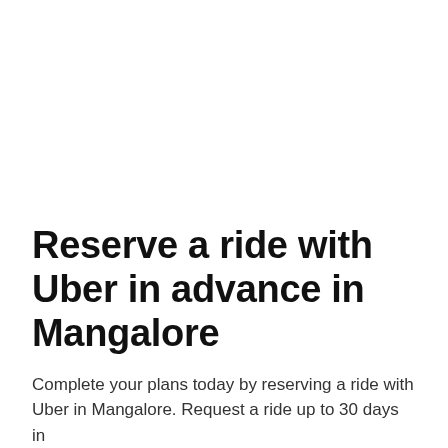Reserve a ride with Uber in advance in Mangalore
Complete your plans today by reserving a ride with Uber in Mangalore. Request a ride up to 30 days in